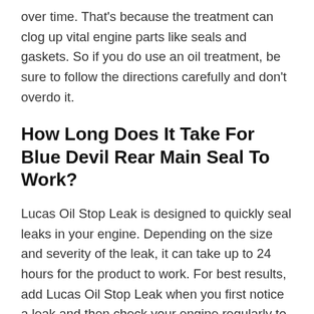over time. That's because the treatment can clog up vital engine parts like seals and gaskets. So if you do use an oil treatment, be sure to follow the directions carefully and don't overdo it.
How Long Does It Take For Blue Devil Rear Main Seal To Work?
Lucas Oil Stop Leak is designed to quickly seal leaks in your engine. Depending on the size and severity of the leak, it can take up to 24 hours for the product to work. For best results, add Lucas Oil Stop Leak when you first notice a leak and then check your engine regularly to ensure the product is sealing the leak properly. If you have a large or severe leak, you may need to add